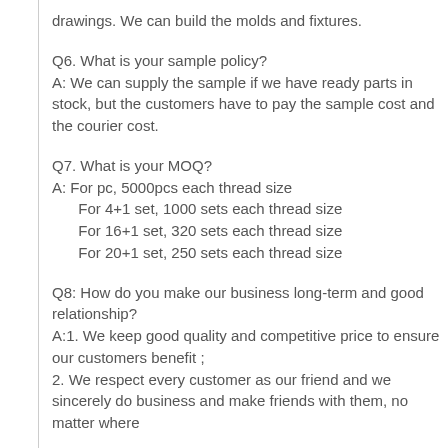drawings. We can build the molds and fixtures.
Q6. What is your sample policy?
A: We can supply the sample if we have ready parts in stock, but the customers have to pay the sample cost and the courier cost.
Q7. What is your MOQ?
A: For pc, 5000pcs each thread size
   For 4+1 set, 1000 sets each thread size
   For 16+1 set, 320 sets each thread size
   For 20+1 set, 250 sets each thread size
Q8: How do you make our business long-term and good relationship?
A:1. We keep good quality and competitive price to ensure our customers benefit ;
2. We respect every customer as our friend and we sincerely do business and make friends with them, no matter where